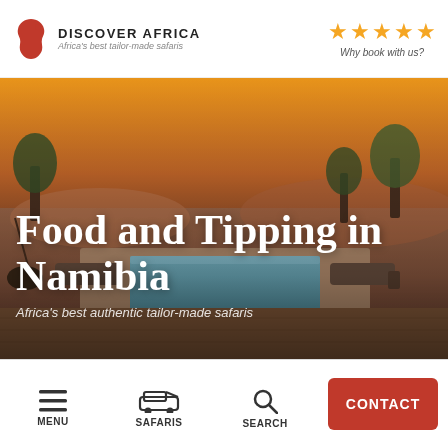[Figure (logo): Discover Africa logo with red Africa continent icon, text 'DISCOVER AFRICA' and tagline 'Africa's best tailor-made safaris']
[Figure (infographic): Five gold stars rating with text 'Why book with us?' below]
[Figure (photo): Hero photo of a luxury safari lodge with infinity pool, lounge chairs, trees and orange sunset sky in the desert landscape of Namibia]
Food and Tipping in Namibia
Africa's best authentic tailor-made safaris
MENU | SAFARIS | SEARCH | CONTACT